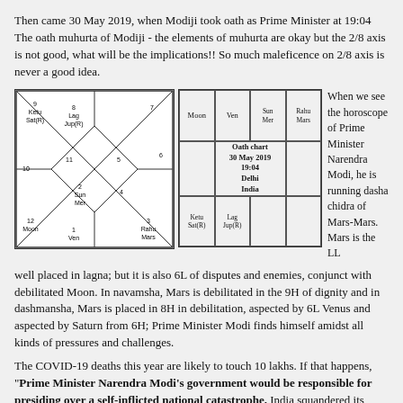Then came 30 May 2019, when Modiji took oath as Prime Minister at 19:04 The oath muhurta of Modiji - the elements of muhurta are okay but the 2/8 axis is not good, what will be the implications!! So much maleficence on 2/8 axis is never a good idea.
[Figure (other): North Indian style horoscope chart for Oath chart 30 May 2019, 19:04, Delhi, India. Houses: 1-Moon&Ven, 2-Sun&Mer, 3-Rahu&Mars, 4, 5, 6, 7, 8-Lag&Jup(R), 9-Ketu&Sat(R), 10, 11, 12-Moon area. Also South Indian grid version of same chart.]
When we see the horoscope of Prime Minister Narendra Modi, he is running dasha chidra of Mars-Mars. Mars is the LL well placed in lagna; but it is also 6L of disputes and enemies, conjunct with debilitated Moon. In navamsha, Mars is debilitated in the 9H of dignity and in dashmansha, Mars is placed in 8H in debilitation, aspected by 6L Venus and aspected by Saturn from 6H; Prime Minister Modi finds himself amidst all kinds of pressures and challenges.
The COVID-19 deaths this year are likely to touch 10 lakhs. If that happens, "Prime Minister Narendra Modi's government would be responsible for presiding over a self-inflicted national catastrophe. India squandered its early successes in controlling COVID-19. Until April, the government's COVID-19